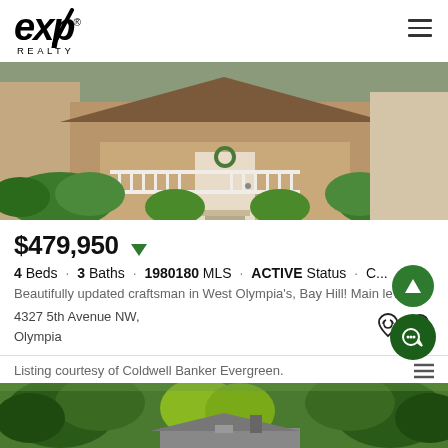eXp REALTY
[Figure (photo): Exterior photo of a craftsman-style house with green bushes, white porch railing, and front door with wreath]
$479,950
4 Beds · 3 Baths · 1980180 MLS · ACTIVE Status · C...
Beautifully updated craftsman in West Olympia's, Bay Hill! Main lev...
4327 5th Avenue NW, Olympia
Listing courtesy of Coldwell Banker Evergreen.
[Figure (photo): Aerial or street view photo of a house surrounded by green trees]